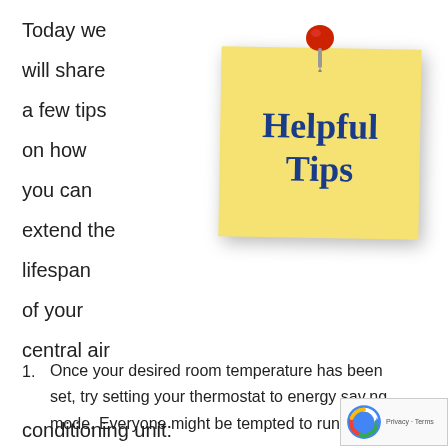Today we will share a few tips on how you can extend the lifespan of your central air conditioning unit:
[Figure (illustration): A yellow sticky note pinned with a red thumbtack, with the text 'Helpful Tips' written in bold dark blue handwritten-style font.]
1. Once your desired room temperature has been set, try setting your thermostat to energy saving mode. Everyone might be tempted to run AC